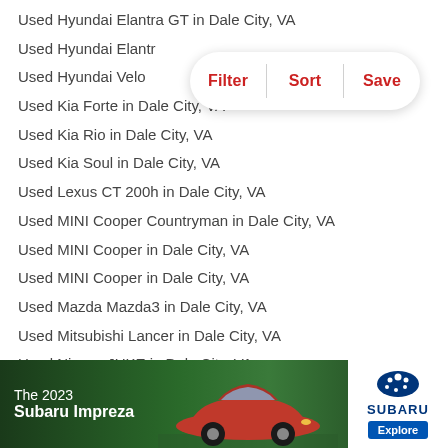Used Hyundai Elantra GT in Dale City, VA
Used Hyundai Elantra in Dale City, VA
Used Hyundai Veloster in Dale City, VA
Used Kia Forte in Dale City, VA
Used Kia Rio in Dale City, VA
Used Kia Soul in Dale City, VA
Used Lexus CT 200h in Dale City, VA
Used MINI Cooper Countryman in Dale City, VA
Used MINI Cooper in Dale City, VA
Used MINI Cooper in Dale City, VA
Used Mazda Mazda3 in Dale City, VA
Used Mitsubishi Lancer in Dale City, VA
Used Nissan JUKE in Dale City, VA
Used Nissan Sentra in Dale City, VA
Used Nissan Versa Note in Dale City, VA
Used Nissan Versa in Dale City, VA
Used Scion tC in Dale City, VA
Used Scion xB in Dale City, VA
Used Toyota Corolla in Dale City, VA
Used Toyota Matrix in Dale City, VA
[Figure (screenshot): Filter / Sort / Save pill button overlay on the list]
[Figure (photo): Advertisement banner: The 2023 Subaru Impreza with car photo and Subaru logo with Explore button]